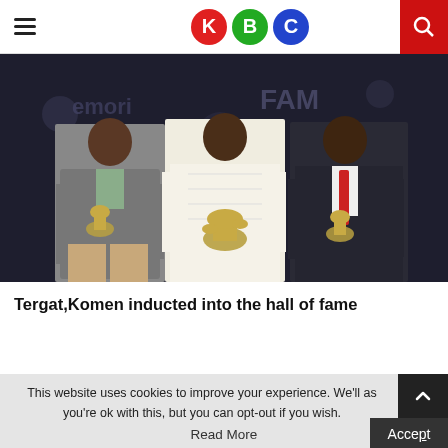KBC
[Figure (photo): Three people standing in front of a dark Hall of Fame backdrop, each holding a trophy/award figurine. Left: man in grey blazer and khaki trousers. Center: woman in white floral dress. Right: man in dark suit with red tie.]
Tergat,Komen inducted into the hall of fame
This website uses cookies to improve your experience. We'll as you're ok with this, but you can opt-out if you wish.
Read More